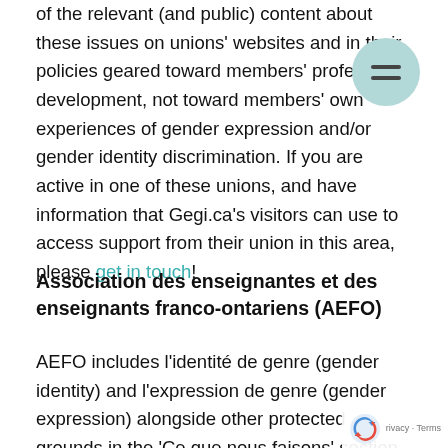of the relevant (and public) content about these issues on unions' websites and in their policies geared toward members' professional development, not toward members' own experiences of gender expression and/or gender identity discrimination. If you are active in one of these unions, and have information that Gegi.ca's visitors can use to access support from their union in this area, please get in touch!
Association des enseignantes et des enseignants franco-ontariens (AEFO)
AEFO includes l'identité de genre (gender identity) and l'expression de genre (gender expression) alongside other protected grounds in the 'Ce que nous faisons' section of its website as follows: "La FEO croit fermement que tous les membres de la